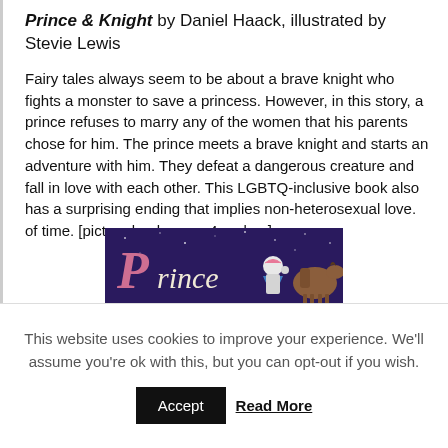Prince & Knight by Daniel Haack, illustrated by Stevie Lewis
Fairy tales always seem to be about a brave knight who fights a monster to save a princess. However, in this story, a prince refuses to marry any of the women that his parents chose for him. The prince meets a brave knight and starts an adventure with him. They defeat a dangerous creature and fall in love with each other. This LGBTQ-inclusive book also has a surprising ending that implies non-heterosexual love. of time. [picture book, ages 4 and up]
[Figure (illustration): Book cover illustration for Prince & Knight showing a prince in white armor with pink hair waving, a knight figure, and a horse against a dark purple starry background with stylized 'Prince' lettering in pink.]
This website uses cookies to improve your experience. We'll assume you're ok with this, but you can opt-out if you wish.